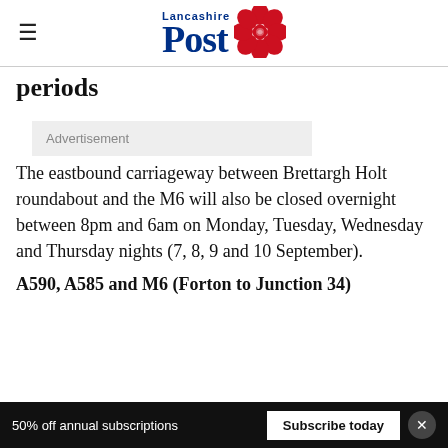Lancashire Post
periods
Advertisement
The eastbound carriageway between Brettargh Holt roundabout and the M6 will also be closed overnight between 8pm and 6am on Monday, Tuesday, Wednesday and Thursday nights (7, 8, 9 and 10 September).
A590, A585 and M6 (Forton to Junction 34)
50% off annual subscriptions
Subscribe today